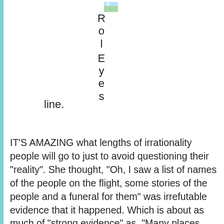[Figure (illustration): Small green landscape icon at top of vertical rotated text column]
line. RolEyes
IT'S AMAZING what lengths of irrationality people will go to just to avoid questioning their "reality". She thought, "Oh, I saw a list of names of the people on the flight, some stories of the people and a funeral for them" was irrefutable evidence that it happened. Which is about as much of "strong evidence" as, "Many places named in the Bible are real, and it self-references it's stories, therefore it must all be true."